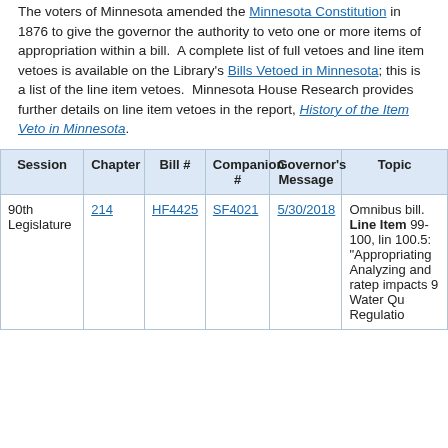The voters of Minnesota amended the Minnesota Constitution in 1876 to give the governor the authority to veto one or more items of appropriation within a bill.  A complete list of full vetoes and line item vetoes is available on the Library's Bills Vetoed in Minnesota; this is a list of the line item vetoes.  Minnesota House Research provides further details on line item vetoes in the report, History of the Item Veto in Minnesota.
| Session | Chapter | Bill # | Companion # | Governor's Message | Topic |
| --- | --- | --- | --- | --- | --- |
| 90th Legislature | 214 | HF4425 | SF4021 | 5/30/2018 | Omnibus bill. Line Item 99-100, line 100.5: "Appropriating Analyzing and ratepayer impacts 9 Water Quality Regulation |